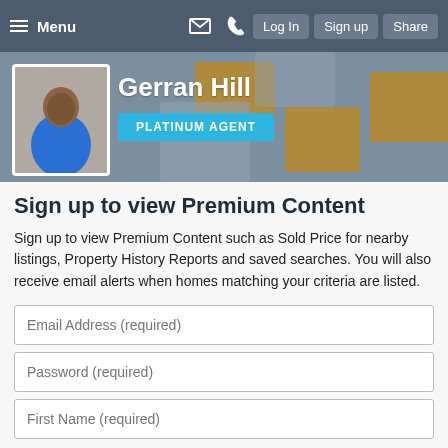Menu | Log In | Sign up | Share
[Figure (photo): Agent profile banner showing Gerran Hill, a man in a blue jacket, against a grey and gold geometric background. He is labeled as a Platinum Agent.]
Sign up to view Premium Content
Sign up to view Premium Content such as Sold Price for nearby listings, Property History Reports and saved searches. You will also receive email alerts when homes matching your criteria are listed.
Email Address (required)
Password (required)
First Name (required)